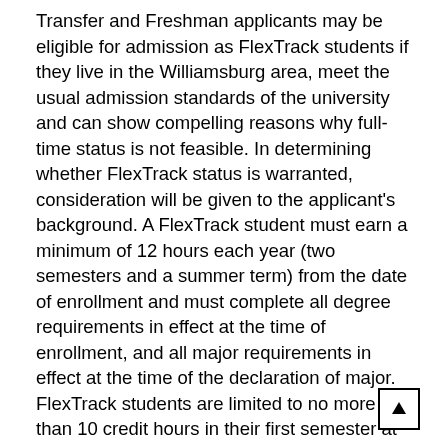Transfer and Freshman applicants may be eligible for admission as FlexTrack students if they live in the Williamsburg area, meet the usual admission standards of the university and can show compelling reasons why full-time status is not feasible. In determining whether FlexTrack status is warranted, consideration will be given to the applicant's background. A FlexTrack student must earn a minimum of 12 hours each year (two semesters and a summer term) from the date of enrollment and must complete all degree requirements in effect at the time of enrollment, and all major requirements in effect at the time of the declaration of major. FlexTrack students are limited to no more than 10 credit hours in their first semester at the university. Students who believe they meet these standards because their status has changed since matriculation as a full-time student may petition the Committee on Academic Status for FlexTrack student status. Any FlexTrack students who wish to have their